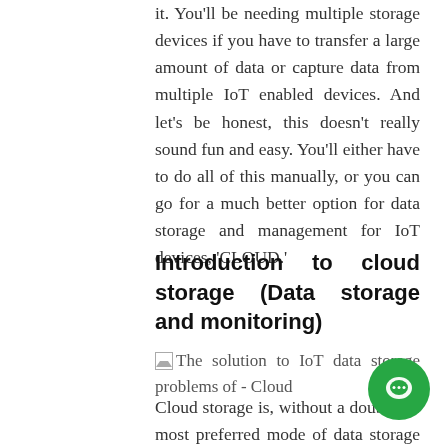it. You'll be needing multiple storage devices if you have to transfer a large amount of data or capture data from multiple IoT enabled devices. And let's be honest, this doesn't really sound fun and easy. You'll either have to do all of this manually, or you can go for a much better option for data storage and management for IoT devices, 'CLOUD.'
Introduction to cloud storage (Data storage and monitoring)
[Figure (photo): Broken image placeholder with alt text: The solution to IoT data storage problems of - Cloud]
Cloud storage is, without a doubt, the most preferred mode of data storage for all operating devices. The reason for that